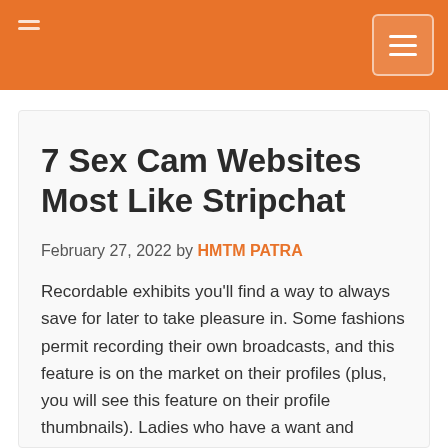7 Sex Cam Websites Most Like Stripchat
February 27, 2022 by HMTM PATRA
Recordable exhibits you'll find a way to always save for later to take pleasure in. Some fashions permit recording their own broadcasts, and this feature is on the market on their profiles (plus, you will see this feature on their profile thumbnails). Ladies who have a want and courageous of becoming a model can join the community and begin earning. Becoming a